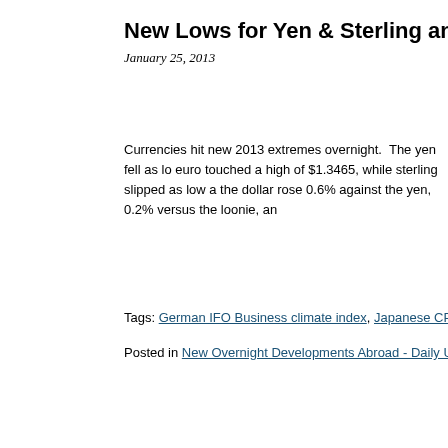New Lows for Yen & Sterling and Highs...
January 25, 2013
Currencies hit new 2013 extremes overnight.  The yen fell as lo... euro touched a high of $1.3465, while sterling slipped as low a... the dollar rose 0.6% against the yen, 0.2% versus the loonie, an...
Tags: German IFO Business climate index, Japanese CPI, Japanes...
Posted in New Overnight Developments Abroad - Daily Update | Co...